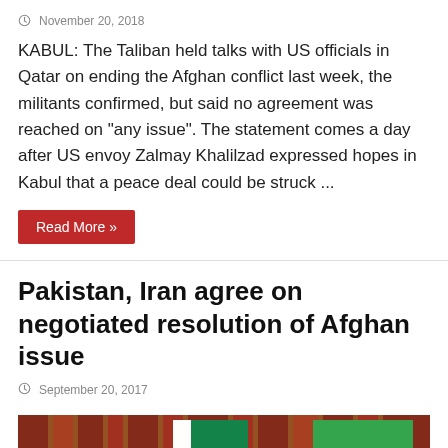November 20, 2018
KABUL: The Taliban held talks with US officials in Qatar on ending the Afghan conflict last week, the militants confirmed, but said no agreement was reached on “any issue”. The statement comes a day after US envoy Zalmay Khalilzad expressed hopes in Kabul that a peace deal could be struck ...
Read More »
Pakistan, Iran agree on negotiated resolution of Afghan issue
September 20, 2017
[Figure (photo): Officials from Pakistan and Iran seated at a meeting table with Pakistan and Iran flags visible in the background. Several men in formal attire are seated, with an Iranian leader visible on the right in traditional white turban.]